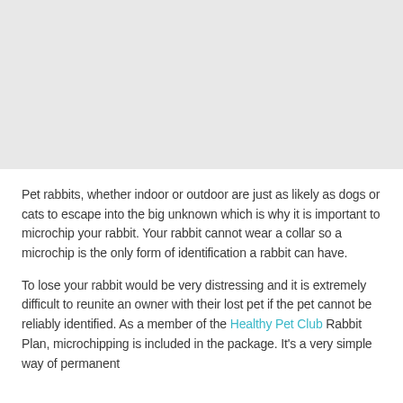[Figure (photo): Light gray placeholder image area at the top of the page]
Pet rabbits, whether indoor or outdoor are just as likely as dogs or cats to escape into the big unknown which is why it is important to microchip your rabbit. Your rabbit cannot wear a collar so a microchip is the only form of identification a rabbit can have.
To lose your rabbit would be very distressing and it is extremely difficult to reunite an owner with their lost pet if the pet cannot be reliably identified. As a member of the Healthy Pet Club Rabbit Plan, microchipping is included in the package. It's a very simple way of permanent